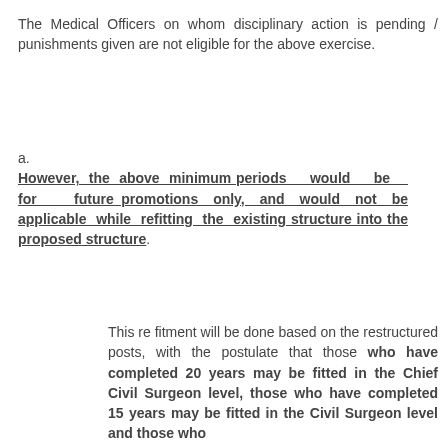The Medical Officers on whom disciplinary action is pending / punishments given are not eligible for the above exercise.
a. However, the above minimum periods would be for future promotions only, and would not be applicable while refitting the existing structure into the proposed structure.
This re fitment will be done based on the restructured posts, with the postulate that those who have completed 20 years may be fitted in the Chief Civil Surgeon level, those who have completed 15 years may be fitted in the Civil Surgeon level and those who